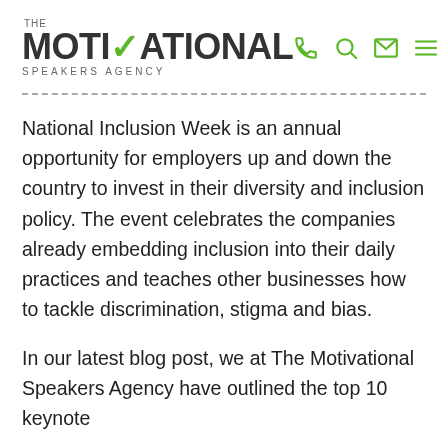[Figure (logo): The Motivational Speakers Agency logo with green checkmark in MOTIVATIONAL text]
National Inclusion Week is an annual opportunity for employers up and down the country to invest in their diversity and inclusion policy. The event celebrates the companies already embedding inclusion into their daily practices and teaches other businesses how to tackle discrimination, stigma and bias.
In our latest blog post, we at The Motivational Speakers Agency have outlined the top 10 keynote